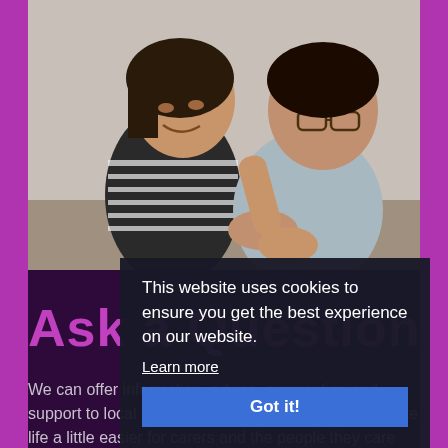[Figure (photo): Two people sitting together laughing and holding hands. A woman with short dark hair in a striped shirt and a man with glasses in a grey shirt, appearing happy and close.]
Ask a Question
We can offer information, advice, signposting and support to local carers and carers' groups to help make life a little easier for carers and the people they care for
This website uses cookies to ensure you get the best experience on our website. Learn more
Got it!